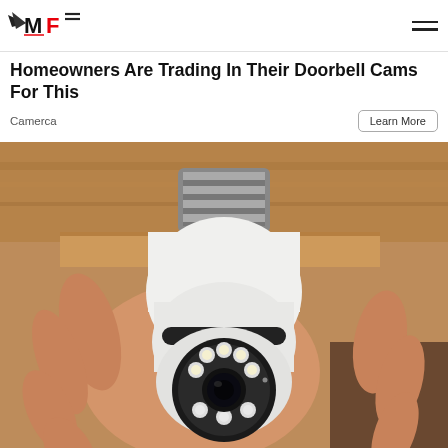[Figure (logo): MF logo with stylized wings/checkmark and red F letter]
Homeowners Are Trading In Their Doorbell Cams For This
Camerca
Learn More
[Figure (photo): A hand holding a white light bulb security camera with a circular lens and LED array, against a wooden background]